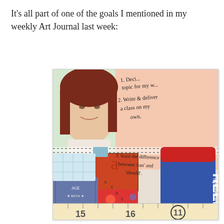It's all part of one of the goals I mentioned in my weekly Art Journal last week:
[Figure (photo): A collage-style art journal page featuring a photo of a woman with red hair, handwritten goals (1. topic for my..., 2. Write & deliver a class on my own., 3. learn the difference between 'can' and 'should'), a blue 'HELLO my name is' sticker badge, decorative stamps, patterned paper scraps, and ruler/number imagery at the bottom showing numbers 15, 16, 11.]